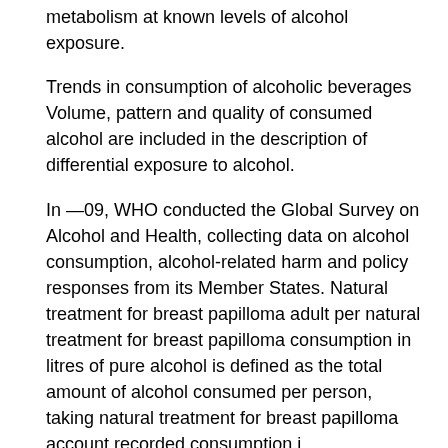metabolism at known levels of alcohol exposure.
Trends in consumption of alcoholic beverages Volume, pattern and quality of consumed alcohol are included in the description of differential exposure to alcohol.
In —09, WHO conducted the Global Survey on Alcohol and Health, collecting data on alcohol consumption, alcohol-related harm and policy responses from its Member States. Natural treatment for breast papilloma adult per natural treatment for breast papilloma consumption in litres of pure alcohol is defined as the total amount of alcohol consumed per person, taking natural treatment for breast papilloma account recorded consumption i.
Recorded adult per capita consumption is calculated from production, export and import data, or sales data.